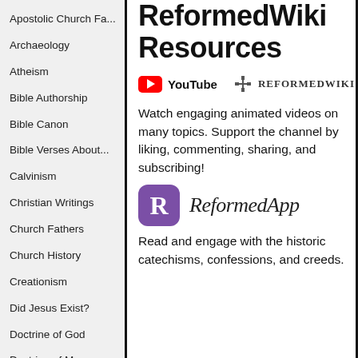Apostolic Church Fa...
Archaeology
Atheism
Bible Authorship
Bible Canon
Bible Verses About...
Calvinism
Christian Writings
Church Fathers
Church History
Creationism
Did Jesus Exist?
Doctrine of God
Doctrine of Man
Doctrine of Salvation
ReformedWiki Resources
[Figure (logo): YouTube logo and ReformedWiki logo side by side with a vertical divider]
Watch engaging animated videos on many topics. Support the channel by liking, commenting, sharing, and subscribing!
[Figure (logo): ReformedApp logo: purple rounded square with R letter and italic text ReformedApp]
Read and engage with the historic catechisms, confessions, and creeds.